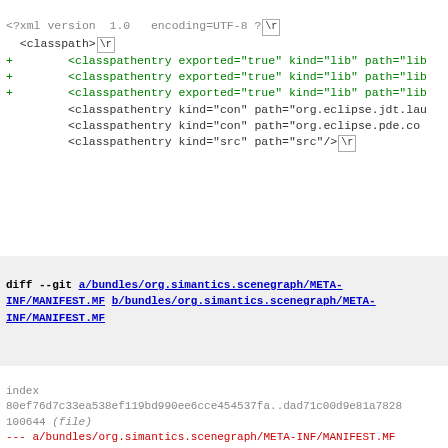<?xml version 1.0 encoding=UTF-8 ?>[\r]
<classpath>[\r]
+        <classpathentry exported="true" kind="lib" path="lib
+        <classpathentry exported="true" kind="lib" path="lib
+        <classpathentry exported="true" kind="lib" path="lib
         <classpathentry kind="con" path="org.eclipse.jdt.lau
         <classpathentry kind="con" path="org.eclipse.pde.co
         <classpathentry kind="src" path="src"/> [\r]
diff --git a/bundles/org.simantics.scenegraph/META-INF/MANIFEST.MF b/bundles/org.simantics.scenegraph/META-INF/MANIFEST.MF
index
80ef76d7c33ea538ef119bd990ee6cce454537fa..dad71c00d9e81a7828
100644 (file)
--- a/bundles/org.simantics.scenegraph/META-INF/MANIFEST.MF
+++ b/bundles/org.simantics.scenegraph/META-INF/MANIFEST.MF
@@ -16,7 +16,10 @@ Require-Bundle: gnu.trove3;bundle-version
  org.simantics.utils;bundle-version="1.1.0"
 Bundle-RequiredExecutionEnvironment: JavaSE-1.8
 Bundle-ClassPath: .,
- lib/svgSalamander-tiny.jar
+ lib/svgSalamander-tiny.jar,
+ lib/batik-parser-1.8.jar,
+ lib/batik-awt-util-1.8.jar,
+ lib/batik-util-1.8.jar
 Export-Package: com.kitfox.svg,
  com.kitfox.svg.xml,
  org.simantics.scenegraph,
diff --git a/bundles/org.simantics.scenegraph/build.properties b/bundles/org.simantics.scenegraph/build.properties